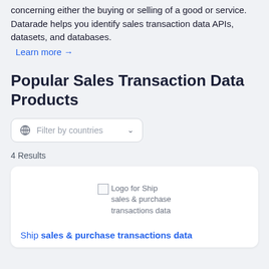concerning either the buying or selling of a good or service. Datarade helps you identify sales transaction data APIs, datasets, and databases.
Learn more →
Popular Sales Transaction Data Products
Filter by countries
4 Results
[Figure (logo): Logo for Ship sales & purchase transactions data (broken image placeholder)]
Ship sales & purchase transactions data